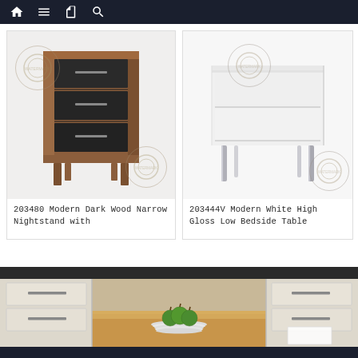Navigation bar with home, menu, dictionary, and search icons
[Figure (photo): Dark wood narrow nightstand with three black drawers and wooden legs on white background, with watermark overlay]
203480 Modern Dark Wood Narrow Nightstand with
[Figure (photo): Modern white high gloss low bedside table with two drawers and metal legs on white background, with watermark overlay]
203444V Modern White High Gloss Low Bedside Table
[Figure (photo): Kitchen scene showing cream/beige cabinet drawers with metal handles and a wooden countertop with a plate of green apples]